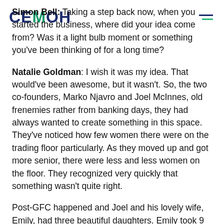CEMOH [logo with hamburger menu]
Simon Bell: Taking a step back now, when you started the business, where did your idea come from? Was it a light bulb moment or something you've been thinking of for a long time?
Natalie Goldman: I wish it was my idea. That would've been awesome, but it wasn't. So, the two co-founders, Marko Njavro and Joel McInnes, old frenemies rather from banking days, they had always wanted to create something in this space. They've noticed how few women there were on the trading floor particularly. As they moved up and got more senior, there were less and less women on the floor. They recognized very quickly that something wasn't quite right.
Post-GFC happened and Joel and his lovely wife, Emily, had three beautiful daughters. Emily took 9